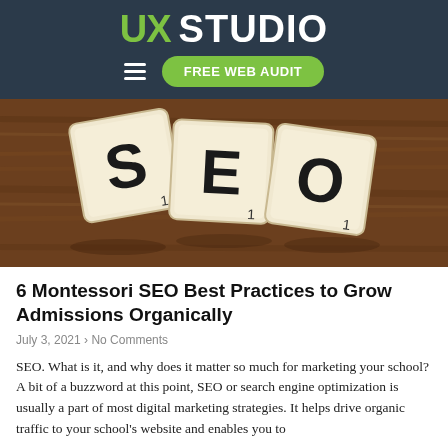UX STUDIO — FREE WEB AUDIT
[Figure (photo): Three Scrabble tiles spelling SEO on a wooden surface]
6 Montessori SEO Best Practices to Grow Admissions Organically
July 3, 2021 › No Comments
SEO. What is it, and why does it matter so much for marketing your school? A bit of a buzzword at this point, SEO or search engine optimization is usually a part of most digital marketing strategies. It helps drive organic traffic to your school's website and enables you to